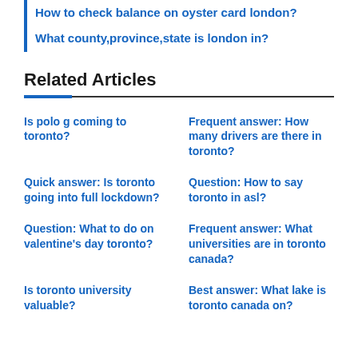How to check balance on oyster card london?
What county,province,state is london in?
Related Articles
Is polo g coming to toronto?
Frequent answer: How many drivers are there in toronto?
Quick answer: Is toronto going into full lockdown?
Question: How to say toronto in asl?
Question: What to do on valentine's day toronto?
Frequent answer: What universities are in toronto canada?
Is toronto university valuable?
Best answer: What lake is toronto canada on?